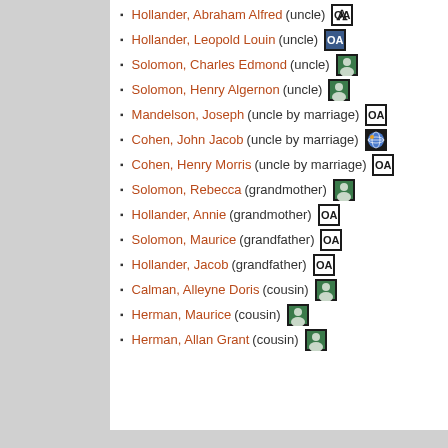Hollander, Abraham Alfred (uncle)
Hollander, Leopold Louin (uncle)
Solomon, Charles Edmond (uncle)
Solomon, Henry Algernon (uncle)
Mandelson, Joseph (uncle by marriage)
Cohen, John Jacob (uncle by marriage)
Cohen, Henry Morris (uncle by marriage)
Solomon, Rebecca (grandmother)
Hollander, Annie (grandmother)
Solomon, Maurice (grandfather)
Hollander, Jacob (grandfather)
Calman, Alleyne Doris (cousin)
Herman, Maurice (cousin)
Herman, Allan Grant (cousin)